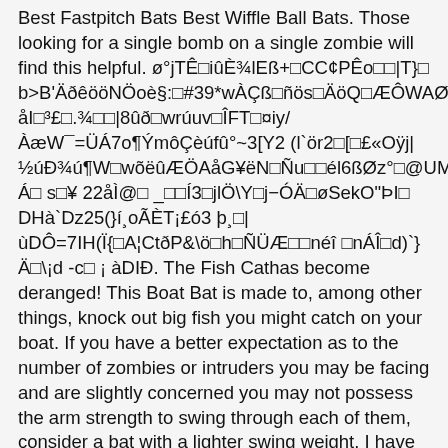Best Fastpitch Bats Best Wiffle Ball Bats. Those looking for a single bomb on a single zombie will find this helpful. ø°jTÊ□iûÈ¾lEß+□CC¢PÊo□□|T}□ b>B'ÄðêööNÖoè§:□#39*wÀÇß□ñös□ÄöQ□ÆÔWAØÇ¤*ä åI□³£□.¾□□|8ûð□wrúuv□ÎFT□¤iy/ ÀæW¯=ÜÁ7o¶ÝmôÇèúfû°~3[Y2 (l`ör2□[□£«Oÿj| ½úÐ¾ú¶W□wõëûÆÖAåG¥ëN□Ñu□□él6ßØz°□@UMS Á□ s□¥ 22åÌ@□ _□□Í3□jlÖ\Y□j−ÓÄ□øSekO"ÞI□ DHà`Dz25(}í¸oÃÈT¡£ó3 þ¸□| ùDÔ=7IH(Ï{□A¦CtðP&\ö□h□ÑÜÆ□□néî □nÁÎ□d)`} Ä□\¡d -c□ ¡ àDIĐ. The Fish Cathas become deranged! This Boat Bat is made to, among other things, knock out big fish you might catch on your boat. If you have a better expectation as to the number of zombies or intruders you may be facing and are slightly concerned you may not possess the arm strength to swing through each of them, consider a bat with a lighter swing weight. I have considered the use of a baseball bat for self-defense. This is thought to prot ect the animal's tube feet and soft tissue from small predators, such as little shrimps, worms and fish. wu®¢bYÒÓî§[- Ñ}ùòåøãêü LV°¯0¾ Just Bat Reviews, LLC